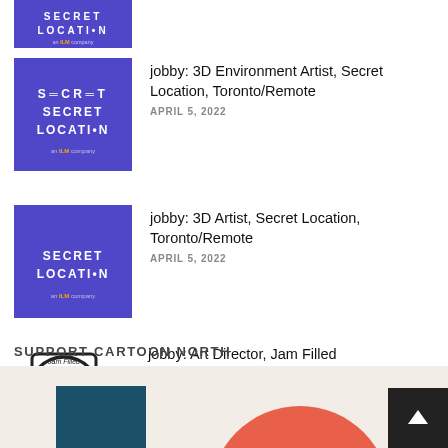[Figure (logo): Secret Location purple logo (cropped at top)]
jobby: 3D Environment Artist, Secret Location, Toronto/Remote
APRIL 5, 2022
jobby: 3D Artist, Secret Location, Toronto/Remote
APRIL 5, 2022
jobby: Art Director, Jam Filled Entertainment, Toronto/Remote
APRIL 5, 2022
SUPPORT CARTOON NORTH
[Figure (illustration): Bottom promotional banner with teal rectangle, coral/red circular shape, and dark scroll-to-top button with arrow icon]